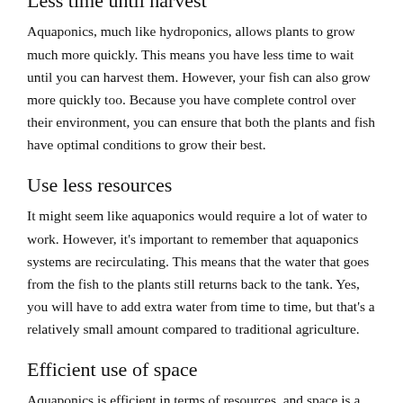Less time until harvest
Aquaponics, much like hydroponics, allows plants to grow much more quickly. This means you have less time to wait until you can harvest them. However, your fish can also grow more quickly too. Because you have complete control over their environment, you can ensure that both the plants and fish have optimal conditions to grow their best.
Use less resources
It might seem like aquaponics would require a lot of water to work. However, it's important to remember that aquaponics systems are recirculating. This means that the water that goes from the fish to the plants still returns back to the tank. Yes, you will have to add extra water from time to time, but that's a relatively small amount compared to traditional agriculture.
Efficient use of space
Aquaponics is efficient in terms of resources, and space is a key